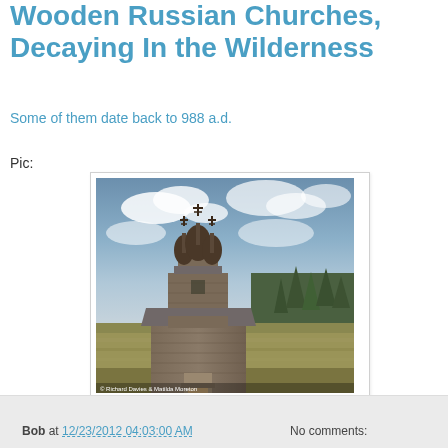Wooden Russian Churches, Decaying In the Wilderness
Some of them date back to 988 a.d.
Pic:
[Figure (photo): A decaying wooden Russian Orthodox church with onion domes and crosses, standing in a wilderness landscape with evergreen trees and golden grassy field under a cloudy sky. Photo credit: © Richard Davies & Matilda Moreton]
Bob at 12/23/2012 04:03:00 AM    No comments: